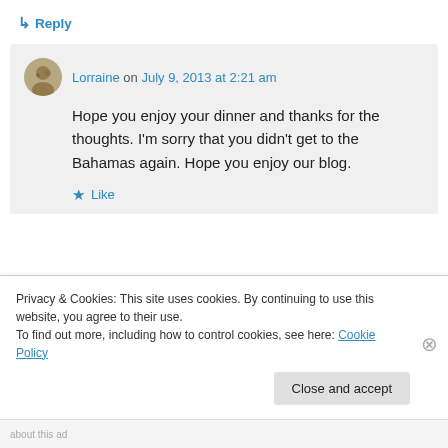↳ Reply
Lorraine on July 9, 2013 at 2:21 am
Hope you enjoy your dinner and thanks for the thoughts. I'm sorry that you didn't get to the Bahamas again. Hope you enjoy our blog.
★ Like
Privacy & Cookies: This site uses cookies. By continuing to use this website, you agree to their use.
To find out more, including how to control cookies, see here: Cookie Policy
Close and accept